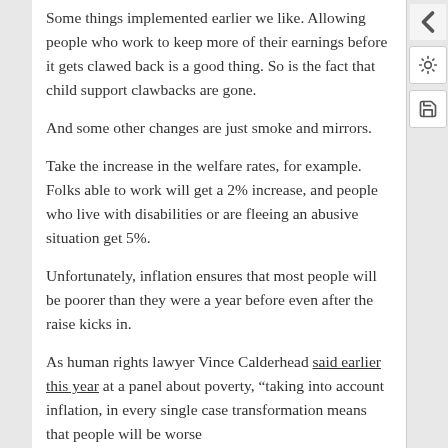Some things implemented earlier we like. Allowing people who work to keep more of their earnings before it gets clawed back is a good thing. So is the fact that child support clawbacks are gone.
And some other changes are just smoke and mirrors.
Take the increase in the welfare rates, for example. Folks able to work will get a 2% increase, and people who live with disabilities or are fleeing an abusive situation get 5%.
Unfortunately, inflation ensures that most people will be poorer than they were a year before even after the raise kicks in.
As human rights lawyer Vince Calderhead said earlier this year at a panel about poverty, “taking into account inflation, in every single case transformation means that people will be worse…